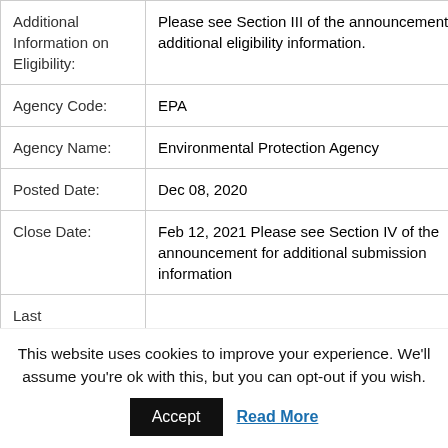| Field | Value |
| --- | --- |
| Additional Information on Eligibility: | Please see Section III of the announcement for additional eligibility information. |
| Agency Code: | EPA |
| Agency Name: | Environmental Protection Agency |
| Posted Date: | Dec 08, 2020 |
| Close Date: | Feb 12, 2021 Please see Section IV of the announcement for additional submission information |
| Last |  |
This website uses cookies to improve your experience. We'll assume you're ok with this, but you can opt-out if you wish.